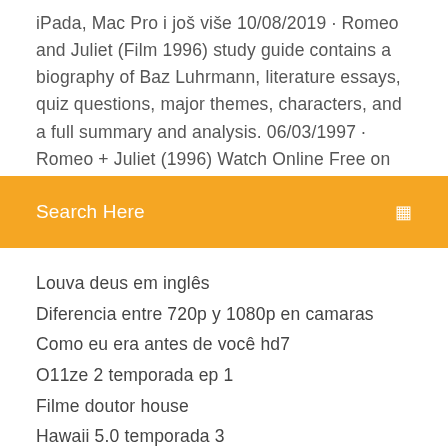iPada, Mac Pro i još više 10/08/2019 · Romeo and Juliet (Film 1996) study guide contains a biography of Baz Luhrmann, literature essays, quiz questions, major themes, characters, and a full summary and analysis. 06/03/1997 · Romeo + Juliet (1996) Watch Online Free on Europix - In director Baz Luhrmann's contemporary take on William Shakespeare's
Search Here
Louva deus em inglês
Diferencia entre 720p y 1080p en camaras
Como eu era antes de você hd7
O11ze 2 temporada ep 1
Filme doutor house
Hawaii 5.0 temporada 3
Baixar musicas bob marley one love
Os heróis trapalhões - uma aventura na selva completo
Download serie dexter 3 temporada dublado